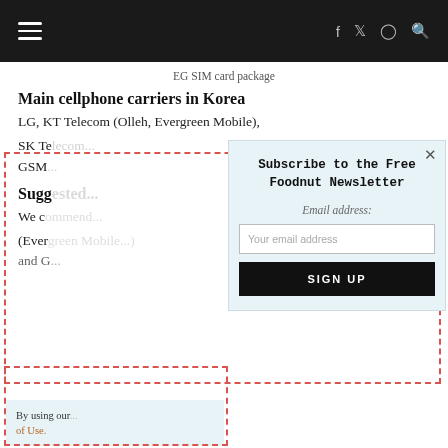Navigation bar with hamburger menu and social icons (Facebook, Twitter, Instagram, Search)
EG SIM card package
Main cellphone carriers in Korea
LG, KT Telecom (Olleh, Evergreen Mobile),
SK Te...
GSM...
Sugg...
We c... (Ever... and G...
[Figure (screenshot): Subscribe to the Free Foodnut Newsletter popup modal with email address input field and SIGN UP button, overlaid on the page content with a dashed red border]
By using our... of Use.